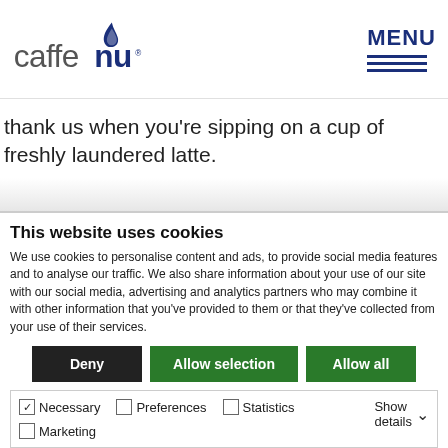[Figure (logo): Caffenu logo — stylized text 'caffenu' with a flame/droplet icon above the 'u', in dark blue/navy color with registered trademark symbol]
MENU (with three horizontal lines below, navigation menu icon)
thank us when you're sipping on a cup of freshly laundered latte.
[Figure (photo): Partial product image showing blue packaging with orange circular logo/badge, partially visible at bottom of page content area]
This website uses cookies
We use cookies to personalise content and ads, to provide social media features and to analyse our traffic. We also share information about your use of our site with our social media, advertising and analytics partners who may combine it with other information that you've provided to them or that they've collected from your use of their services.
Deny | Allow selection | Allow all
✓ Necessary  □ Preferences  □ Statistics  □ Marketing  Show details ∨